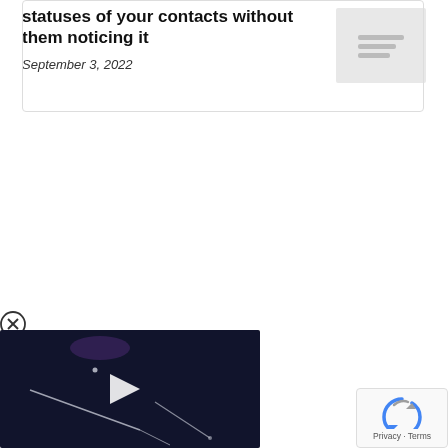statuses of your contacts without them noticing it
September 3, 2022
[Figure (screenshot): Thumbnail image placeholder with horizontal lines on grey background]
[Figure (photo): Close button (X in circle) above a dark video player showing streaking lights/meteors in space with a white play triangle button in the center]
[Figure (logo): Google reCAPTCHA badge with blue/grey recaptcha icon and 'Privacy - Terms' text]